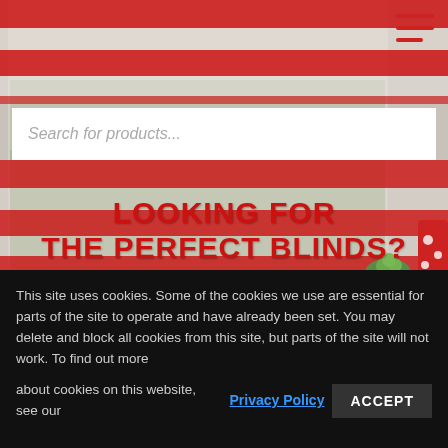[Figure (photo): Hero image of red and white horizontal zebra blinds on a window with garden view outside. Red kitchen accessories visible on right side.]
Search for products...
LOOKING FOR THE PERFECT BLINDS?
WE'LL TAKE CARE OF EVERYTHING
This site uses cookies. Some of the cookies we use are essential for parts of the site to operate and have already been set. You may delete and block all cookies from this site, but parts of the site will not work. To find out more about cookies on this website, see our Privacy Policy ACCEPT